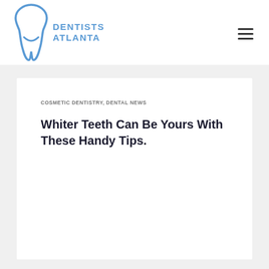Dentists Atlanta
COSMETIC DENTISTRY, DENTAL NEWS
Whiter Teeth Can Be Yours With These Handy Tips.